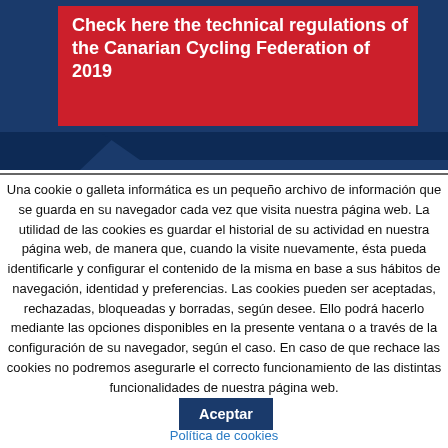[Figure (other): Blue banner background with red box containing text about Canarian Cycling Federation regulations 2019]
Check here the technical regulations of the Canarian Cycling Federation of 2019
Una cookie o galleta informática es un pequeño archivo de información que se guarda en su navegador cada vez que visita nuestra página web. La utilidad de las cookies es guardar el historial de su actividad en nuestra página web, de manera que, cuando la visite nuevamente, ésta pueda identificarle y configurar el contenido de la misma en base a sus hábitos de navegación, identidad y preferencias. Las cookies pueden ser aceptadas, rechazadas, bloqueadas y borradas, según desee. Ello podrá hacerlo mediante las opciones disponibles en la presente ventana o a través de la configuración de su navegador, según el caso. En caso de que rechace las cookies no podremos asegurarle el correcto funcionamiento de las distintas funcionalidades de nuestra página web.
Aceptar
Política de cookies